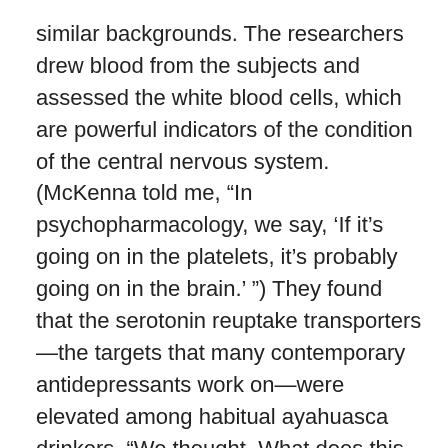similar backgrounds. The researchers drew blood from the subjects and assessed the white blood cells, which are powerful indicators of the condition of the central nervous system. (McKenna told me, “In psychopharmacology, we say, ‘If it’s going on in the platelets, it’s probably going on in the brain.’ ”) They found that the serotonin reuptake transporters—the targets that many contemporary antidepressants work on—were elevated among habitual ayahuasca drinkers. “We thought, What does this mean?” McKenna said. They couldn’t find any research on people with abnormally high levels of the transporters, but there was an extensive body of literature on low levels: the condition is common among those with intractable depression, and in people who suffer from Type 2 alcoholism, which is associated with bouts of violent behavior. “We thought, Holy shit! Is it possible that the